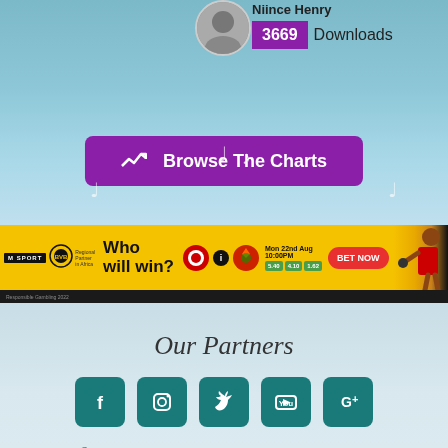[Figure (photo): Circular artist photo of Niince Henry at top of page]
Niince Henry
3669 Downloads
[Figure (other): Purple 'Browse The Charts' button with trend arrow icon]
[Figure (other): Sports betting advertisement banner - MSport/BVB Who will win? Manchester United vs Liverpool Mon 22nd Aug 10:00PM BET NOW]
Our Partners
[Figure (other): Row of social media icons: Facebook, Instagram, Twitter, YouTube, Google+]
© 2022 Coded With Love By Web Genius Uganda